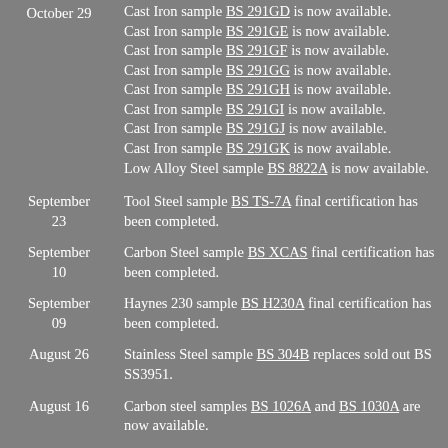October 29 — Cast Iron sample BS 291GD is now available. Cast Iron sample BS 291GE is now available. Cast Iron sample BS 291GF is now available. Cast Iron sample BS 291GG is now available. Cast Iron sample BS 291GH is now available. Cast Iron sample BS 291GI is now available. Cast Iron sample BS 291GJ is now available. Cast Iron sample BS 291GK is now available. Low Alloy Steel sample BS 8822A is now available.
September 23 — Tool Steel sample BS TS-7A final certification has been completed.
September 10 — Carbon Steel sample BS XCAS final certification has been completed.
September 09 — Haynes 230 sample BS H230A final certification has been completed.
August 26 — Stainless Steel sample BS 304B replaces sold out BS SS3951.
August 16 — Carbon steel samples BS 1026A and BS 1030A are now available.
August 12 — Alloy 20 sample BS 187B final certification has been completed.